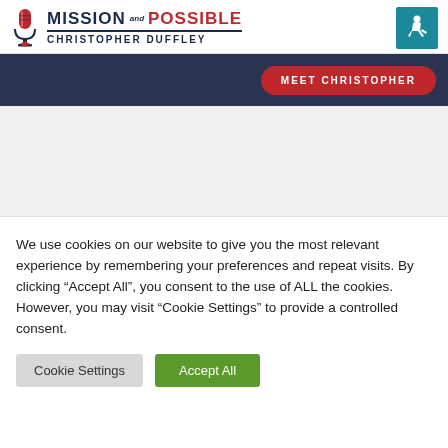[Figure (logo): Mission Possible Christopher Duffley logo with microphone icon and red/navy text]
[Figure (logo): Accessibility icon - white wheelchair user on teal background]
MEET CHRISTOPHER
We use cookies on our website to give you the most relevant experience by remembering your preferences and repeat visits. By clicking “Accept All”, you consent to the use of ALL the cookies. However, you may visit "Cookie Settings" to provide a controlled consent.
Cookie Settings  Accept All